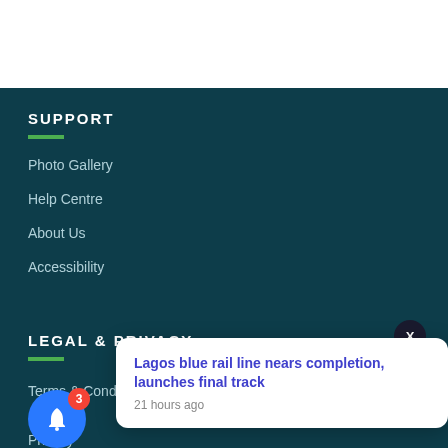SUPPORT
Photo Gallery
Help Centre
About Us
Accessibility
LEGAL & PRIVACY
Terms & Conditions
Privacy
Lagos blue rail line nears completion, launches final track
21 hours ago